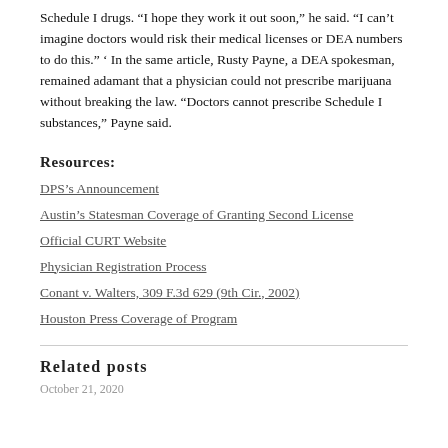Schedule I drugs. “I hope they work it out soon,” he said. “I can’t imagine doctors would risk their medical licenses or DEA numbers to do this.” ‘ In the same article, Rusty Payne, a DEA spokesman, remained adamant that a physician could not prescribe marijuana without breaking the law. “Doctors cannot prescribe Schedule I substances,” Payne said.
Resources:
DPS’s Announcement
Austin’s Statesman Coverage of Granting Second License
Official CURT Website
Physician Registration Process
Conant v. Walters, 309 F.3d 629 (9th Cir., 2002)
Houston Press Coverage of Program
Related posts
October 21, 2020